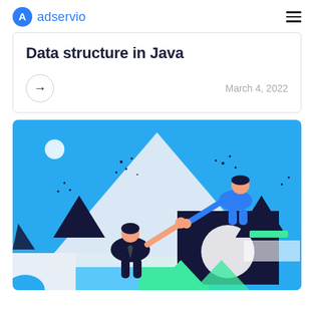adservio
Data structure in Java
→   March 4, 2022
[Figure (illustration): Colorful geometric illustration on a blue background showing two figures: one in dark clothing reaching up with a hand, and another figure in a blue outfit on top of a dark cube, both touching a white triangular shape. Various geometric shapes (triangles, circles, rectangles) in dark navy, white, and green are scattered around the composition.]